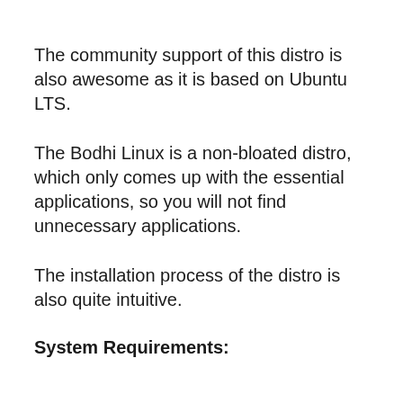The community support of this distro is also awesome as it is based on Ubuntu LTS.
The Bodhi Linux is a non-bloated distro, which only comes up with the essential applications, so you will not find unnecessary applications.
The installation process of the distro is also quite intuitive.
System Requirements: